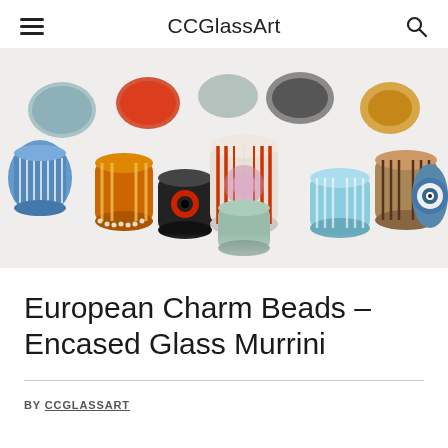CCGlassArt
[Figure (photo): Collection of colorful European charm beads made from encased glass murrini canes, displayed on a white background. Beads are cylindrical and disc-shaped, showing intricate patterns including stripes, concentric circles, and eye patterns in various colors including red, orange, blue, green, teal, brown, and black.]
European Charm Beads – Encased Glass Murrini
BY CCGLASSART